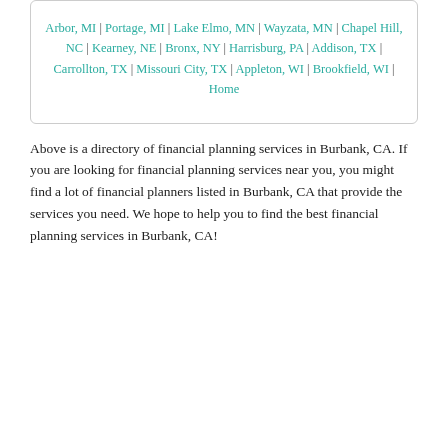Arbor, MI | Portage, MI | Lake Elmo, MN | Wayzata, MN | Chapel Hill, NC | Kearney, NE | Bronx, NY | Harrisburg, PA | Addison, TX | Carrollton, TX | Missouri City, TX | Appleton, WI | Brookfield, WI | Home
Above is a directory of financial planning services in Burbank, CA. If you are looking for financial planning services near you, you might find a lot of financial planners listed in Burbank, CA that provide the services you need. We hope to help you to find the best financial planning services in Burbank, CA!